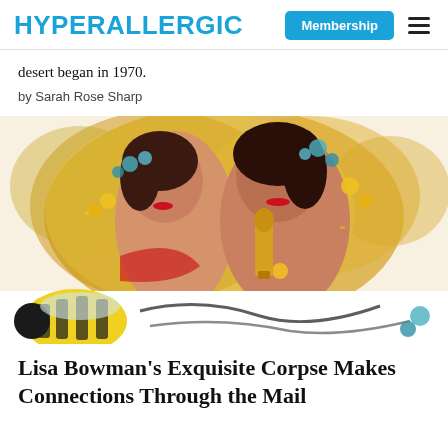HYPERALLERGIC
desert began in 1970.
by Sarah Rose Sharp
[Figure (photo): Two women posing together surrounded by gold leaf and colorful pressed flowers. One holds a golden Oscar-like statuette. Below them is a yellow and black bee illustration with cursive lettering.]
Lisa Bowman's Exquisite Corpse Makes Connections Through the Mail